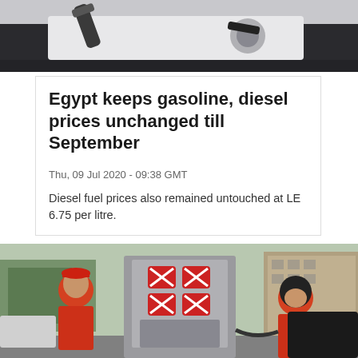[Figure (photo): Close-up of a fuel nozzle being inserted into a car at a gas station]
Egypt keeps gasoline, diesel prices unchanged till September
Thu, 09 Jul 2020 - 09:38 GMT
Diesel fuel prices also remained untouched at LE 6.75 per litre.
[Figure (photo): Two gas station attendants in red uniforms at an Egyptian petrol station, one male and one female in hijab, standing next to fuel pump equipment]